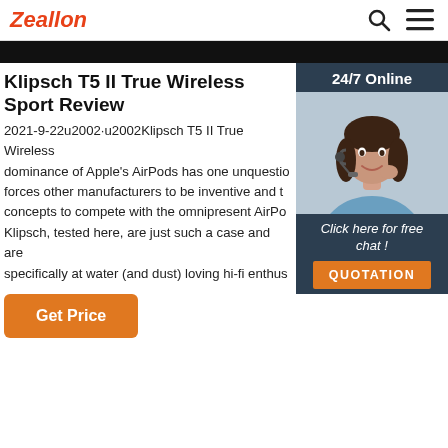Zeallon
Klipsch T5 II True Wireless Sport Review
2021-9-22u2002·u2002Klipsch T5 II True Wireless dominance of Apple's AirPods has one unquestio forces other manufacturers to be inventive and t concepts to compete with the omnipresent AirPo Klipsch, tested here, are just such a case and are specifically at water (and dust) loving hi-fi enthus
[Figure (photo): Customer service representative with headset, smiling. Sidebar with '24/7 Online' header and 'Click here for free chat!' and 'QUOTATION' button.]
Get Price
Click here for free chat !
QUOTATION